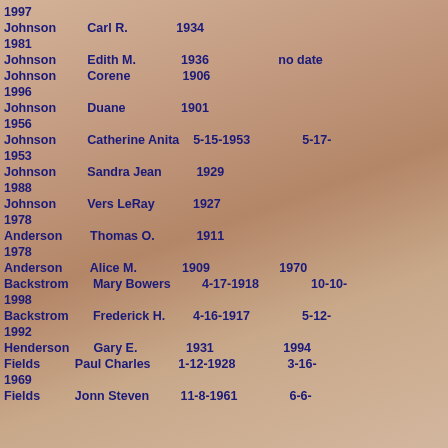| Last Name | First Name | Birth | Death |
| --- | --- | --- | --- |
|  |  | 1997 |  |
| Johnson | Carl R. | 1934 | 1981 |
| Johnson | Edith M. | 1936 | no date |
| Johnson | Corene | 1906 | 1996 |
| Johnson | Duane | 1901 | 1956 |
| Johnson | Catherine Anita | 5-15-1953 | 5-17-1953 |
| Johnson | Sandra Jean | 1929 | 1988 |
| Johnson | Vers LeRay | 1927 | 1978 |
| Anderson | Thomas O. | 1911 | 1978 |
| Anderson | Alice M. | 1909 | 1970 |
| Backstrom | Mary Bowers | 4-17-1918 | 10-10-1998 |
| Backstrom | Frederick H. | 4-16-1917 | 5-12-1992 |
| Henderson | Gary E. | 1931 | 1994 |
| Fields | Paul Charles | 1-12-1928 | 3-16-1969 |
| Fields | Jonn Steven | 11-8-1961 | 6-6- |